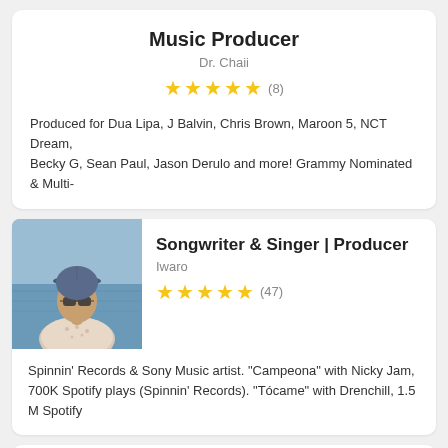Music Producer
Dr. Chaii
★★★★★ (8)
Produced for Dua Lipa, J Balvin, Chris Brown, Maroon 5, NCT Dream, Becky G, Sean Paul, Jason Derulo and more! Grammy Nominated & Multi-
[Figure (photo): Profile photo of Iwaro: person wearing a cap and sunglasses, blue water/sea in background]
Songwriter & Singer | Producer
Iwaro
★★★★★ (47)
Spinnin' Records & Sony Music artist. "Campeona" with Nicky Jam, 700K Spotify plays (Spinnin' Records). "Tócame" with Drenchill, 1.5 M Spotify
Music Producer, Mix Engineer
Sete Sousa